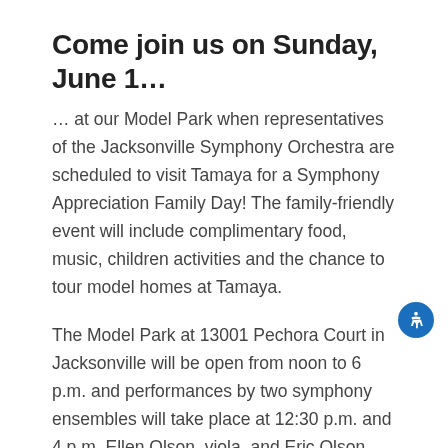Come join us on Sunday, June 1…
… at our Model Park when representatives of the Jacksonville Symphony Orchestra are scheduled to visit Tamaya for a Symphony Appreciation Family Day! The family-friendly event will include complimentary food, music, children activities and the chance to tour model homes at Tamaya.
The Model Park at 13001 Pechora Court in Jacksonville will be open from noon to 6 p.m. and performances by two symphony ensembles will take place at 12:30 p.m. and 4 p.m. Ellen Olson, viola, and Eric Olson, oboe, will perform at 12:30 p.m. and Peter Wright, clarinet, Les Roettges